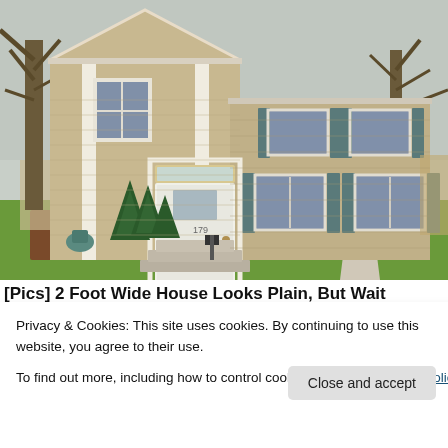[Figure (photo): Exterior photo of a two-story colonial-style house with tan/beige horizontal siding, white trim, white front door, blue shutters on upper windows, evergreen shrubs flanking the entrance, bare trees on either side, green lawn, and a concrete driveway/walkway.]
[Pics] 2 Foot Wide House Looks Plain, But Wait
Privacy & Cookies: This site uses cookies. By continuing to use this website, you agree to their use.
To find out more, including how to control cookies, see here: Cookie Policy
Close and accept
[Figure (photo): Partial thumbnail of a person's face (close-up, appears to be an older person)]
Then They See This Inside